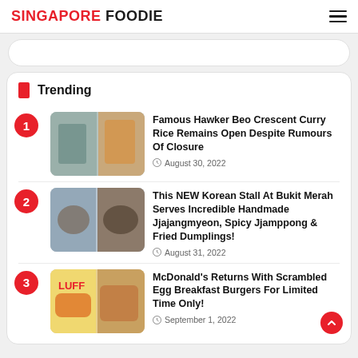SINGAPORE FOODIE
Trending
Famous Hawker Beo Crescent Curry Rice Remains Open Despite Rumours Of Closure — August 30, 2022
This NEW Korean Stall At Bukit Merah Serves Incredible Handmade Jjajangmyeon, Spicy Jjamppong & Fried Dumplings! — August 31, 2022
McDonald's Returns With Scrambled Egg Breakfast Burgers For Limited Time Only! — September 1, 2022